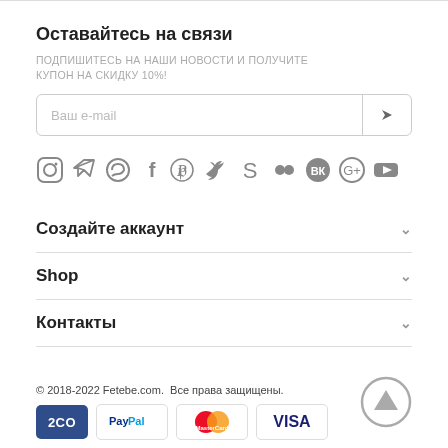Оставайтесь на связи
ПОДПИШИТЕСЬ НА НАШИ НОВОСТИ И ПОЛУЧИТЕ КУПОН НА СКИДКУ 10%!
Ваш e-mail
[Figure (infographic): Social media icons row: Instagram, Telegram, WhatsApp, Facebook, Pinterest, Twitter, Skype, Flickr, VK, Google+, YouTube]
Создайте аккаунт
Shop
Контакты
© 2018-2022 Fetebe.com.  Все права защищены.
[Figure (infographic): Payment icons: 2CO, PayPal, MasterCard, VISA]